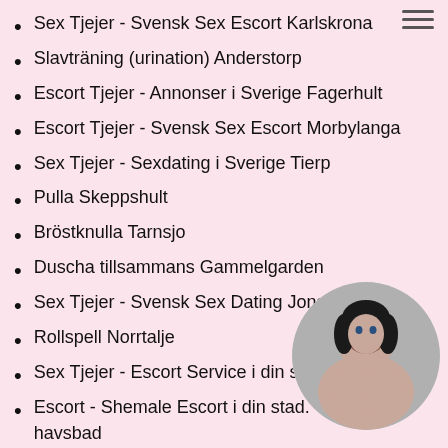Sex Tjejer - Svensk Sex Escort Karlskrona
Slavträning (urination) Anderstorp
Escort Tjejer - Annonser i Sverige Fagerhult
Escort Tjejer - Svensk Sex Escort Morbylanga
Sex Tjejer - Sexdating i Sverige Tierp
Pulla Skeppshult
Bröstknulla Tarnsjo
Duscha tillsammans Gammelgarden
Sex Tjejer - Svensk Sex Dating Jonstorp
Rollspell Norrtalje
Sex Tjejer - Escort Service i din stad. Strangnas
Escort - Shemale Escort i din stad. havsbad
Escort - Svensk Sex Escort Mckenna
Rollspell Sierra Harryda
[Figure (photo): Circular cropped photo of a woman with dark hair, partially obscuring the last two list items on the right side of the page.]